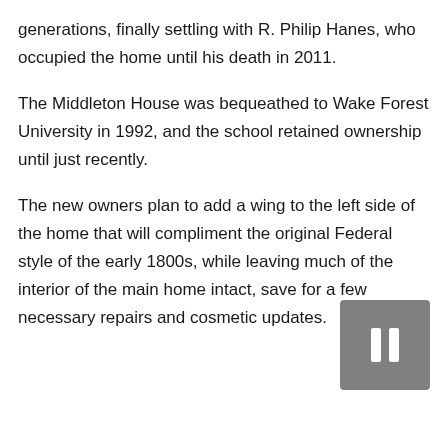generations, finally settling with R. Philip Hanes, who occupied the home until his death in 2011.
The Middleton House was bequeathed to Wake Forest University in 1992, and the school retained ownership until just recently.
The new owners plan to add a wing to the left side of the home that will compliment the original Federal style of the early 1800s, while leaving much of the interior of the main home intact, save for a few necessary repairs and cosmetic updates.
[Figure (other): A gray pause button (two vertical white bars on gray square background) in the bottom-right area of the page.]